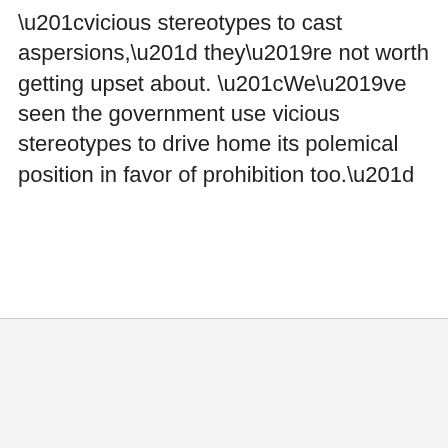“vicious stereotypes to cast aspersions,” they’re not worth getting upset about. “We’ve seen the government use vicious stereotypes to drive home its polemical position in favor of prohibition too.”
Advertisement: